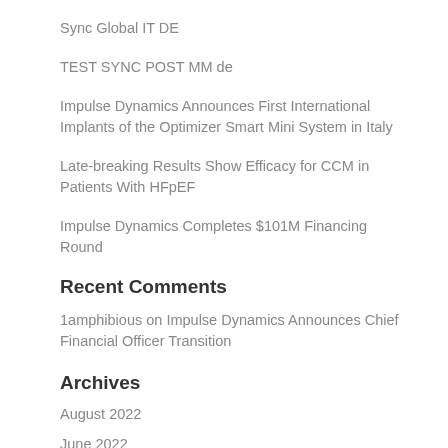Sync Global IT DE
TEST SYNC POST MM de
Impulse Dynamics Announces First International Implants of the Optimizer Smart Mini System in Italy
Late-breaking Results Show Efficacy for CCM in Patients With HFpEF
Impulse Dynamics Completes $101M Financing Round
Recent Comments
1amphibious on Impulse Dynamics Announces Chief Financial Officer Transition
Archives
August 2022
June 2022
May 2022